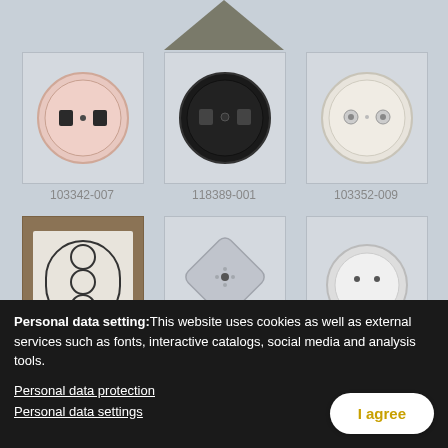[Figure (photo): Triangle/arrow shape at top center, pointing upward, in olive/gray color]
[Figure (photo): Round cylindrical electrical socket connector in pink/beige color with two ports, product code 103342-007]
103342-007
[Figure (photo): Round cylindrical electrical socket connector in black color with two ports, product code 118389-001]
118389-001
[Figure (photo): Round cylindrical electrical socket connector in white/cream color with two ports, product code 103352-009]
103352-009
[Figure (photo): Diagram/schematic of three-circle oval connector shape on brown/terracotta background]
[Figure (photo): Diamond-shaped plastic cover plate in gray/translucent color with central port]
[Figure (photo): Round white cylindrical electrical connector/socket from above with two small holes]
Personal data setting:This website uses cookies as well as external services such as fonts, interactive catalogs, social media and analysis tools.
Personal data protection
Personal data settings
I agree